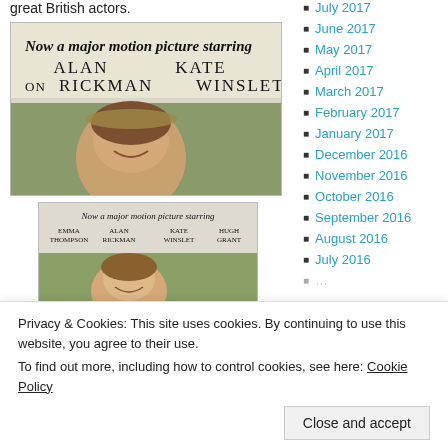great British actors.
[Figure (photo): Book cover photo showing 'Now a major motion picture starring ALAN RICKMAN, KATE WINSLET' with face of a smiling woman in a hat]
[Figure (photo): Smaller book cover showing 'Now a major motion picture starring EMMA THOMPSON, ALAN RICKMAN, KATE WINSLET, HUGH GRANT' with smiling woman]
July 2017
June 2017
May 2017
April 2017
March 2017
February 2017
January 2017
December 2016
November 2016
October 2016
September 2016
August 2016
July 2016
January 2016
Privacy & Cookies: This site uses cookies. By continuing to use this website, you agree to their use.
To find out more, including how to control cookies, see here: Cookie Policy
Close and accept